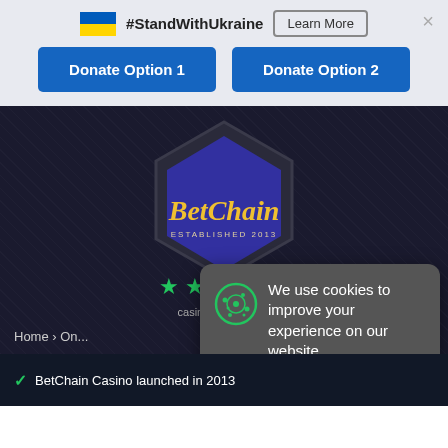[Figure (screenshot): Ukraine flag emoji (blue and yellow horizontal stripes)]
#StandWithUkraine
Learn More
×
Donate Option 1
Donate Option 2
[Figure (logo): BetChain casino logo inside a dark hexagon shape — blue hexagon with gold script text 'BetChain' and subtitle 'ESTABLISHED 2013']
[Figure (other): Five green star rating icons]
casino rank 97/100
Home › On...
We use cookies to improve your experience on our website
More Information
AGREE
R...
BetChain Casino launched in 2013